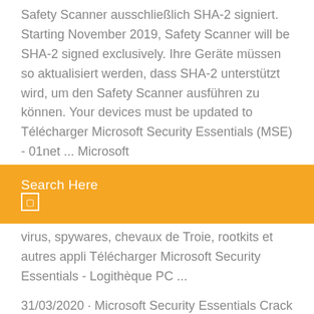Safety Scanner ausschließlich SHA-2 signiert. Starting November 2019, Safety Scanner will be SHA-2 signed exclusively. Ihre Geräte müssen so aktualisiert werden, dass SHA-2 unterstützt wird, um den Safety Scanner ausführen zu können. Your devices must be updated to Télécharger Microsoft Security Essentials (MSE) - 01net ... Microsoft
Search Here
virus, spywares, chevaux de Troie, rootkits et autres appli Télécharger Microsoft Security Essentials - Logithèque PC ...
31/03/2020 · Microsoft Security Essentials Crack Updated | Microsoft Security Essentials 32 bit & 64 Bit Free Download | License Key 100% Working guaranteed. Do you want Official Antivirus Security for your Windows PC? Microsoft Security Essential Crack download is the best antivirus software. It lets you to protect PC and Windows from the virus attacks. Also, it helps you to protect your PC from Télécharger mises à jour pour